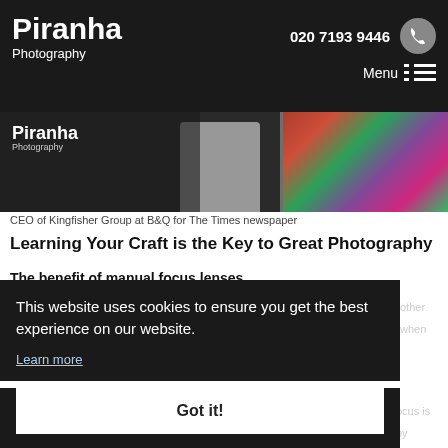Piranha Photography | 020 7193 9446 | Menu
[Figure (photo): Website screenshot showing Piranha Photography header and a photo strip with a person in a white shirt and flowers]
CEO of Kingfisher Group at B&Q for The Times newspaper
Learning Your Craft is the Key to Great Photography
The benefit of manual focus lenses
This website uses cookies to ensure you get the best experience on our website.
Learn more
Got it!
Using a manual lens, and my preference is Leica, my images